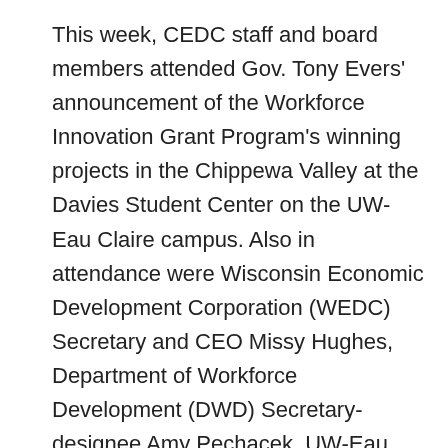This week, CEDC staff and board members attended Gov. Tony Evers' announcement of the Workforce Innovation Grant Program's winning projects in the Chippewa Valley at the Davies Student Center on the UW-Eau Claire campus. Also in attendance were Wisconsin Economic Development Corporation (WEDC) Secretary and CEO Missy Hughes, Department of Workforce Development (DWD) Secretary-designee Amy Pechacek, UW-Eau Claire Chancellor James Schmidt, CVTC President Dr. Sunem Beaton-Garcia, and other dignitaries. Of the $60 million awarded, over $19 million was allocated to projects that CEDC supported, promoted, and worked on in